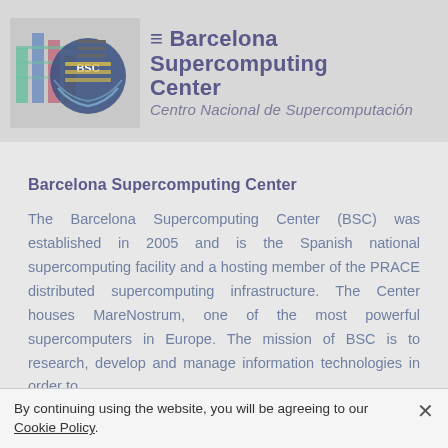[Figure (logo): Barcelona Supercomputing Center (BSC) logo — circular emblem with BSC text and colorful bar chart graphic, beside organization name]
Barcelona Supercomputing Center
The Barcelona Supercomputing Center (BSC) was established in 2005 and is the Spanish national supercomputing facility and a hosting member of the PRACE distributed supercomputing infrastructure. The Center houses MareNostrum, one of the most powerful supercomputers in Europe. The mission of BSC is to research, develop and manage information technologies in order to
By continuing using the website, you will be agreeing to our Cookie Policy.